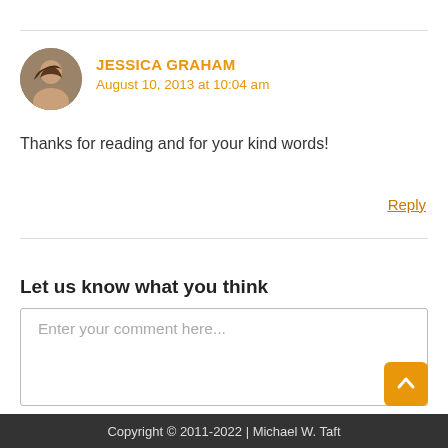JESSICA GRAHAM
August 10, 2013 at 10:04 am
Thanks for reading and for your kind words!
Reply
Let us know what you think
Enter your comment here...
Copyright © 2011-2022 | Michael W. Taft